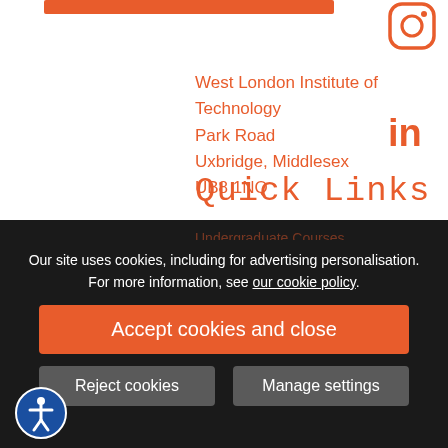[Figure (other): Orange horizontal bar (partial, cropped) at top of page]
[Figure (logo): Instagram icon (rounded square with camera) in orange, top right]
[Figure (logo): LinkedIn 'in' logo in orange, right side]
West London Institute of Technology
Park Road
Uxbridge, Middlesex
UB8 1NQ
Quick Links
Our site uses cookies, including for advertising personalisation. For more information, see our cookie policy.
Accept cookies and close
Reject cookies
Manage settings
[Figure (logo): Accessibility icon (person in circle with blue border) bottom left]